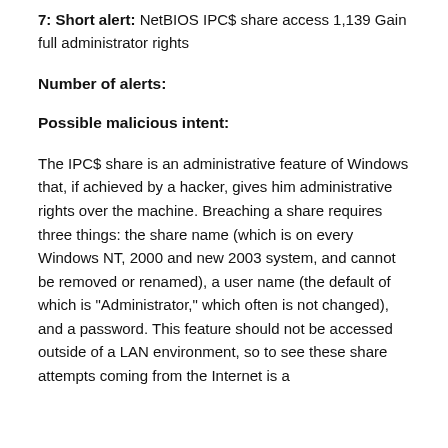7: Short alert: NetBIOS IPC$ share access 1,139 Gain full administrator rights
Number of alerts:
Possible malicious intent:
The IPC$ share is an administrative feature of Windows that, if achieved by a hacker, gives him administrative rights over the machine. Breaching a share requires three things: the share name (which is on every Windows NT, 2000 and new 2003 system, and cannot be removed or renamed), a user name (the default of which is "Administrator," which often is not changed), and a password. This feature should not be accessed outside of a LAN environment, so to see these share attempts coming from the Internet is a